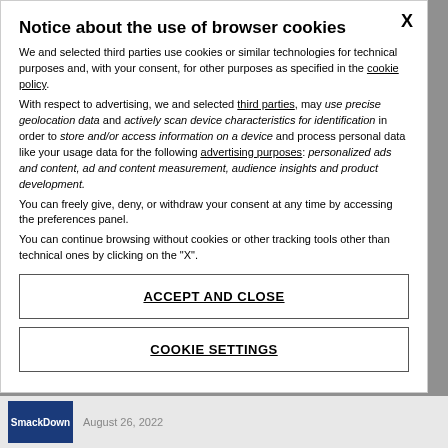Notice about the use of browser cookies
We and selected third parties use cookies or similar technologies for technical purposes and, with your consent, for other purposes as specified in the cookie policy.
With respect to advertising, we and selected third parties, may use precise geolocation data and actively scan device characteristics for identification in order to store and/or access information on a device and process personal data like your usage data for the following advertising purposes: personalized ads and content, ad and content measurement, audience insights and product development.
You can freely give, deny, or withdraw your consent at any time by accessing the preferences panel.
You can continue browsing without cookies or other tracking tools other than technical ones by clicking on the "X".
ACCEPT AND CLOSE
COOKIE SETTINGS
August 26, 2022